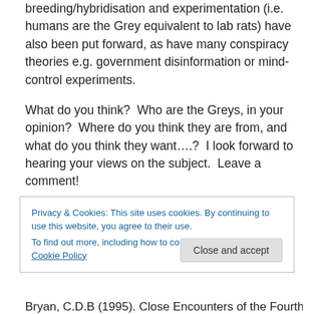breeding/hybridisation and experimentation (i.e. humans are the Grey equivalent to lab rats) have also been put forward, as have many conspiracy theories e.g. government disinformation or mind-control experiments.
What do you think?  Who are the Greys, in your opinion?  Where do you think they are from, and what do you think they want….?  I look forward to hearing your views on the subject.  Leave a comment!
Until next time.  Your friend, A.D.
Privacy & Cookies: This site uses cookies. By continuing to use this website, you agree to their use.
To find out more, including how to control cookies, see here: Cookie Policy
Close and accept
Bryan, C.D.B (1995). Close Encounters of the Fourth Kind.